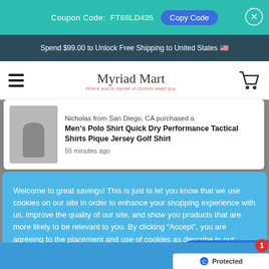Coupon Code: FT68LD435 Copy Code
Spend $99.00 to Unlock Free Shipping to United States 🇺🇸
[Figure (screenshot): Website navigation bar with hamburger menu, MyriadMart brand logo, and cart icon]
Nicholas from San Diego, CA purchased a Men's Polo Shirt Quick Dry Performance Tactical Shirts Pique Jersey Golf Shirt 55 minutes ago
Welcome to great savings! This is just to let you know that we use cookies on our site in order to enhance your shopping experience with us, improve the quality of our site, and show you products that are more likely to be relevant to you. By clicking "Accept", you are agreeing to the placement and use of cookies as describe in our Privacy Policy. Thank you for your patronage.
Privacy Policy   Accept
Only 12 left!   5 people are viewing this, and 18...
Chat with us
+ Add To Cart
+ Buy Now
Protected